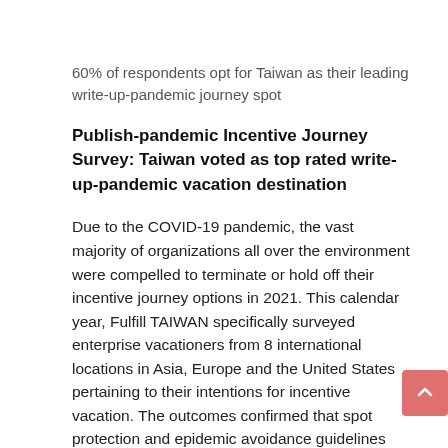60% of respondents opt for Taiwan as their leading write-up-pandemic journey spot
Publish-pandemic Incentive Journey Survey: Taiwan voted as top rated write-up-pandemic vacation destination
Due to the COVID-19 pandemic, the vast majority of organizations all over the environment were compelled to terminate or hold off their incentive journey options in 2021. This calendar year, Fulfill TAIWAN specifically surveyed enterprise vacationers from 8 international locations in Asia, Europe and the United States pertaining to their intentions for incentive vacation. The outcomes confirmed that spot protection and epidemic avoidance guidelines were being their top rated considerations when picking an incentive travel destination. Between the surveyed individuals, over 60% rated Taiwan as their top rated selection for an incentive journey place in Asia. This